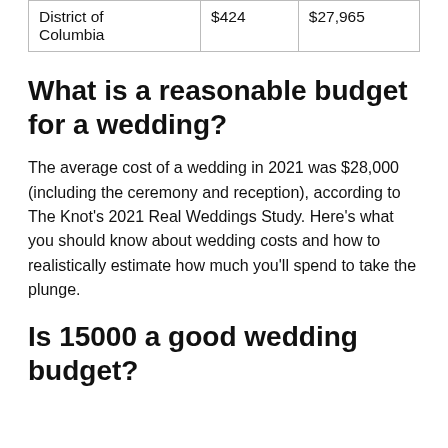| District of Columbia | $424 | $27,965 |
What is a reasonable budget for a wedding?
The average cost of a wedding in 2021 was $28,000 (including the ceremony and reception), according to The Knot's 2021 Real Weddings Study. Here's what you should know about wedding costs and how to realistically estimate how much you'll spend to take the plunge.
Is 15000 a good wedding budget?